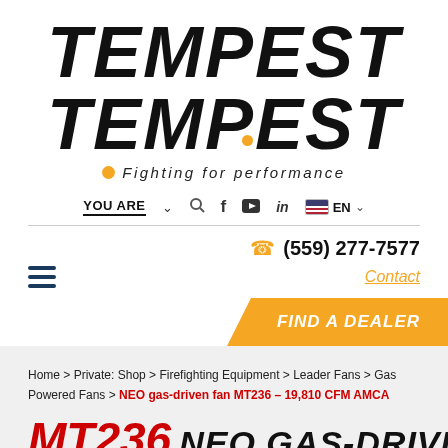[Figure (logo): TEMPEST logo with italic bold black text, orange dot on the P, and tagline 'Fighting for performance' in italic with orange bullet]
YOU ARE  |  search  |  f  |  YouTube  |  in  |  EN
(559) 277-7577
Contact
FIND A DEALER
Home > Private: Shop > Firefighting Equipment > Leader Fans > Gas Powered Fans > NEO gas-driven fan MT236 – 19,810 CFM AMCA
MT236 NEO GAS-DRIVEN